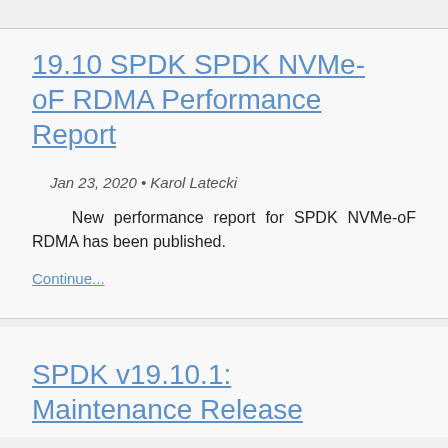19.10 SPDK SPDK NVMe-oF RDMA Performance Report
Jan 23, 2020 • Karol Latecki
New performance report for SPDK NVMe-oF RDMA has been published.
Continue...
SPDK v19.10.1: Maintenance Release